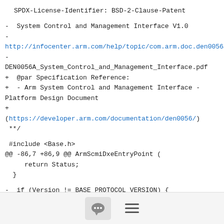SPDX-License-Identifier: BSD-2-Clause-Patent
-  System Control and Management Interface V1.0
-    http://infocenter.arm.com/help/topic/com.arm.doc.den0056a/
-    DEN0056A_System_Control_and_Management_Interface.pdf
+  @par Specification Reference:
+  - Arm System Control and Management Interface - Platform Design Document
+    (https://developer.arm.com/documentation/den0056/)
**/
#include <Base.h>
@@ -86,7 +86,9 @@ ArmScmiDxeEntryPoint (
    return Status;
  }
-  if (Version != BASE_PROTOCOL_VERSION) {
+  // Accept any version between SCMI v1.0 and SCMI v2.0
[Figure (other): Footer bar with chat bubble icon and hamburger menu icon]